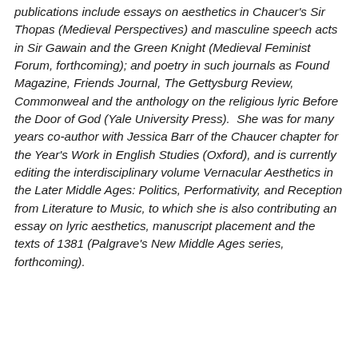publications include essays on aesthetics in Chaucer's Sir Thopas (Medieval Perspectives) and masculine speech acts in Sir Gawain and the Green Knight (Medieval Feminist Forum, forthcoming); and poetry in such journals as Found Magazine, Friends Journal, The Gettysburg Review, Commonweal and the anthology on the religious lyric Before the Door of God (Yale University Press).  She was for many years co-author with Jessica Barr of the Chaucer chapter for the Year's Work in English Studies (Oxford), and is currently editing the interdisciplinary volume Vernacular Aesthetics in the Later Middle Ages: Politics, Performativity, and Reception from Literature to Music, to which she is also contributing an essay on lyric aesthetics, manuscript placement and the texts of 1381 (Palgrave's New Middle Ages series, forthcoming).